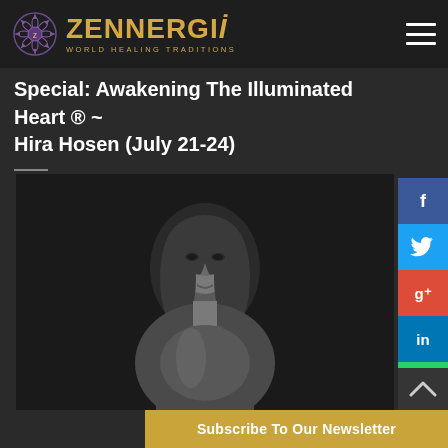ZENNERGI — WORLD HEALING TRADITIONS
Special: Awakening The Illuminated Heart ® ~ Hira Hosen (July 21-24)
[Figure (photo): Black and white portrait photo of a young woman with long hair, wearing a sleeveless top with floral neckline detail, looking directly at camera against a dark background]
Subscribe To Our Newsletter